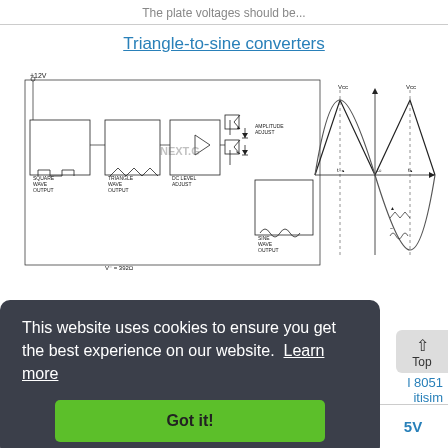The plate voltages should be...
Triangle-to-sine converters
[Figure (circuit-diagram): Triangle-to-sine converter circuit diagram showing oscillator, triangle wave output, DC level adjust, amplitude adjust stages, and output waveform diagrams with triangle and sine wave shapes.]
This website uses cookies to ensure you get the best experience on our website. Learn more
Got it!
8051 itisim
5V